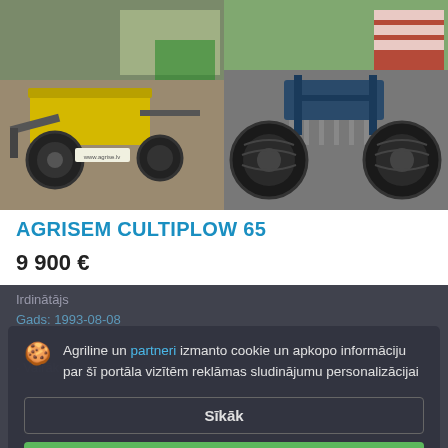[Figure (photo): Two photos of an Agrisem Cultiplow 65 agricultural cultivator machine side by side. Left photo shows yellow and black tillage machine from side angle. Right photo shows the same or similar machine from front angle showing large tires.]
AGRISEM CULTIPLOW 65
9 900 €
Irdinātājs
Gads: 1993-08-08
Vairāk
Agriline un partneri izmanto cookie un apkopo informāciju par šī portāla vizītēm reklāmas sludinājumu personalizācijai
Sīkāk
Piekrist un aizvērt